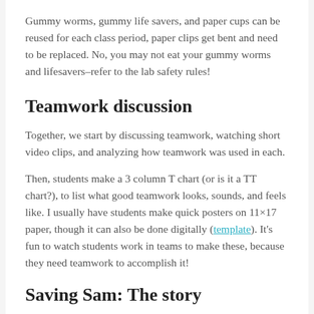Gummy worms, gummy life savers, and paper cups can be reused for each class period, paper clips get bent and need to be replaced. No, you may not eat your gummy worms and lifesavers–refer to the lab safety rules!
Teamwork discussion
Together, we start by discussing teamwork, watching short video clips, and analyzing how teamwork was used in each.
Then, students make a 3 column T chart (or is it a TT chart?), to list what good teamwork looks, sounds, and feels like. I usually have students make quick posters on 11×17 paper, though it can also be done digitally (template). It's fun to watch students work in teams to make these, because they need teamwork to accomplish it!
Saving Sam: The story